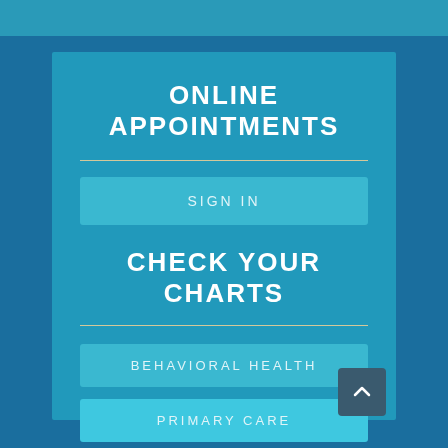ONLINE APPOINTMENTS
SIGN IN
CHECK YOUR CHARTS
BEHAVIORAL HEALTH
PRIMARY CARE